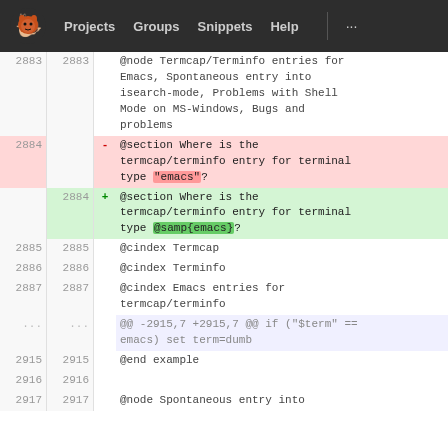Projects  Groups  Snippets  Help  ...
| old | new |  | code |
| --- | --- | --- | --- |
| 2883 | 2883 |  | @node Termcap/Terminfo entries for Emacs, Spontaneous entry into isearch-mode, Problems with Shell Mode on MS-Windows, Bugs and problems |
| 2884 |  | -  | @section Where is the termcap/terminfo entry for terminal type "emacs"? |
|  | 2884 | +  | @section Where is the termcap/terminfo entry for terminal type @samp{emacs}? |
| 2885 | 2885 |  | @cindex Termcap |
| 2886 | 2886 |  | @cindex Terminfo |
| 2887 | 2887 |  | @cindex Emacs entries for termcap/terminfo |
| ... | ... |  | @@ -2915,7 +2915,7 @@ if ("$term" == emacs) set term=dumb |
| 2915 | 2915 |  | @end example |
| 2916 | 2916 |  |  |
| 2917 | 2917 |  | @node Spontaneous entry into |